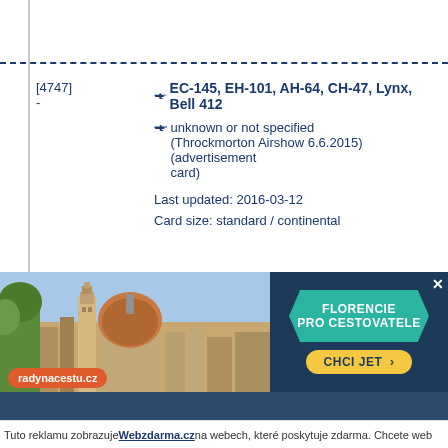[4747]
-
EC-145, EH-101, AH-64, CH-47, Lynx, Bell 412
unknown or not specified (Throckmorton Airshow 6.6.2015)(advertisement card)
Last updated: 2016-03-12
Card size: standard / continental
[3632]
-
EC-155, Bo-105, UH-1, AS-315, AS-330
Bundesgrenzschutz (German Border Police) (50 Years Anniversary)
Last updated: 2006-06-24
Card size: standard / continental
[Figure (screenshot): Advertisement banner for Florencie pro cestovatele (Florence for travelers) on radynacestu.cz website, showing Florence cathedral image and CHCI JET button, with Webzdarma.cz footer notice]